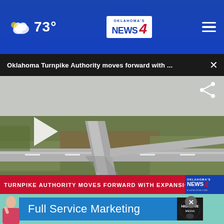73° Oklahoma's News 4
Oklahoma Turnpike Authority moves forward with ...
[Figure (screenshot): Aerial drone video still of a highway interchange in Oklahoma, with two roads crossing over each other amid flat green and brown fields. Red lower-third graphic reads: TURNPIKE AUTHORITY MOVES FORWARD WITH EXPANSION PLANS with Oklahoma's News 4 logo. A white play button triangle is visible on the left.]
[Figure (photo): Advertisement: Full Service Marketing from High Five Media. Shows partial image of a woman with teal background, and a blue banner with white text 'Full Service Marketing' and a circular High Five Media logo on the right.]